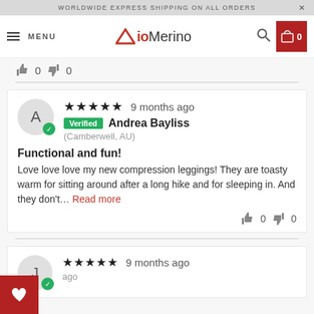WORLDWIDE EXPRESS SHIPPING ON ALL ORDERS
[Figure (logo): AioMerino logo with red triangle and text]
0   0
★★★★★ 9 months ago Verified Andrea Bayliss (Camberwell, AU)
Functional and fun!
Love love love my new compression leggings! They are toasty warm for sitting around after a long hike and for sleeping in. And they don't... Read more
0   0
★★★★★ 9 months ago J